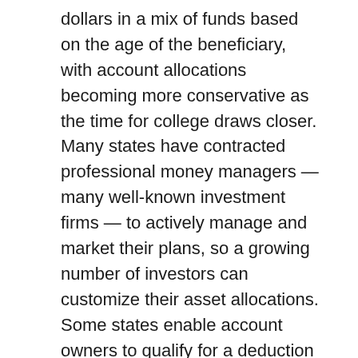dollars in a mix of funds based on the age of the beneficiary, with account allocations becoming more conservative as the time for college draws closer. Many states have contracted professional money managers — many well-known investment firms — to actively manage and market their plans, so a growing number of investors can customize their asset allocations. Some states enable account owners to qualify for a deduction on their state tax returns or receive a small match on the money invested. Earnings from 529 plans are not taxed when used to pay for eligible college expenses. And there are even consumer-friendly reward programs that allow people who purchase certain products and services to receive rebate dollars that go into state-sponsored college savings accounts.
Funds contributed to a 529 plan are considered to be gifts to the beneficiary, so anyone — even non-relatives — can contribute up to $16,000 per year in 2022 per beneficiary without incurring a gift tax.